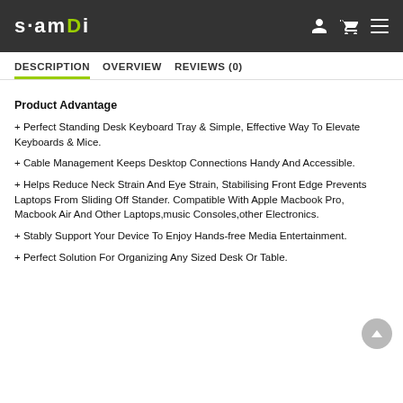SAMDI
DESCRIPTION | OVERVIEW | REVIEWS (0)
Product Advantage
+ Perfect Standing Desk Keyboard Tray & Simple, Effective Way To Elevate Keyboards & Mice.
+ Cable Management Keeps Desktop Connections Handy And Accessible.
+ Helps Reduce Neck Strain And Eye Strain, Stabilising Front Edge Prevents Laptops From Sliding Off Stander. Compatible With Apple Macbook Pro, Macbook Air And Other Laptops,music Consoles,other Electronics.
+ Stably Support Your Device To Enjoy Hands-free Media Entertainment.
+ Perfect Solution For Organizing Any Sized Desk Or Table.